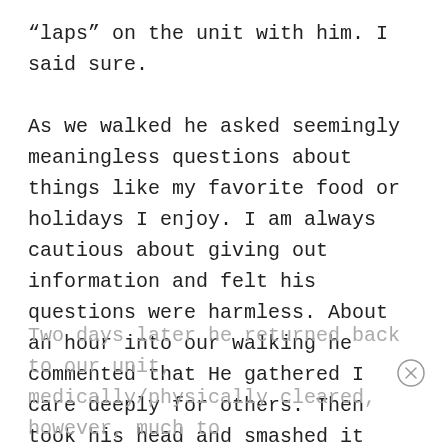"laps" on the unit with him. I said sure.

As we walked he asked seemingly meaningless questions about things like my favorite food or holidays I enjoy. I am always cautious about giving out information and felt his questions were harmless. About an hour into our walking he commented that He gathered I care deeply for others. Then took his head and smashed it through a glass window. Blood gushed from his face and glass was stuck all over his head. We had to transport him by ambulance to our emergency department.
Two days later he returned back to our unit, medically/physically cleared, however, much to